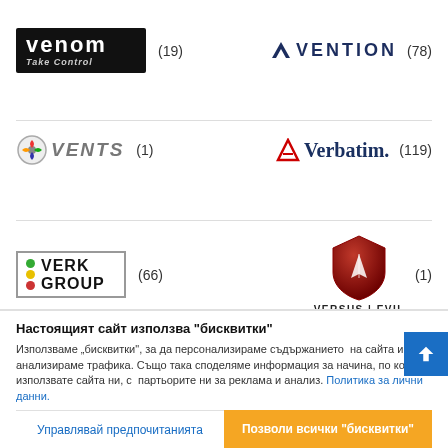[Figure (logo): Venom Take Control logo - black background with stylized text]
(19)
[Figure (logo): Vention logo - dark navy V chevron symbol with VENTION text]
(78)
[Figure (logo): Vents logo - fan icon with italic VENTS text in grey]
(1)
[Figure (logo): Verbatim logo - red V icon with blue Verbatim text]
(119)
[Figure (logo): Verk Group logo - black box with colored dots and VERK GROUP text]
(66)
[Figure (logo): Versus Evil logo - red shield with stylized V and VERSUS|EVIL text]
(1)
Настоящият сайт използва "бисквитки"
Използваме „бисквитки", за да персонализираме съдържанието на сайта и да анализираме трафика. Също така споделяме информация за начина, по който използвате сайта ни, с партьорите ни за реклама и анализ. Политика за лични данни.
Управлявай предпочитанията
Позволи всички "бисквитки"